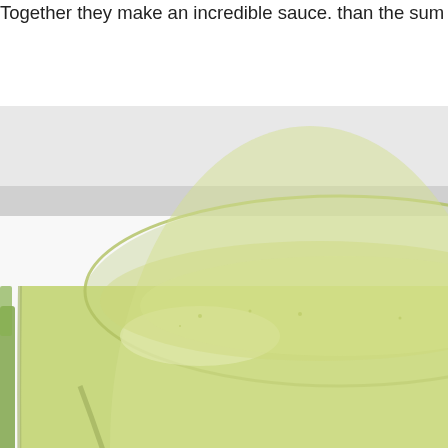Together they make an incredible sauce. than the sum of its parts.
[Figure (photo): Close-up photo of a glass containing a pale yellow-green liquid sauce or drink, photographed from above at an angle on a white background.]
Posted on March 11, 2011 at 07:01 PM in Appr...